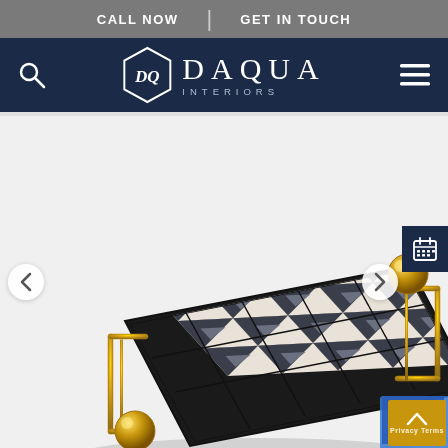CALL NOW | GET IN TOUCH
[Figure (logo): Daqua Interiors logo with hexagon emblem and text DAQUA INTERIORS on dark navy navigation bar with search icon and hamburger menu]
[Figure (photo): Decorative serving tray with black and white geometric triangle pattern and gold-finished handles with ball finials, shown at an angle on white background. Navigation arrows on sides, calendar icon button on right, scroll-to-top button bottom right.]